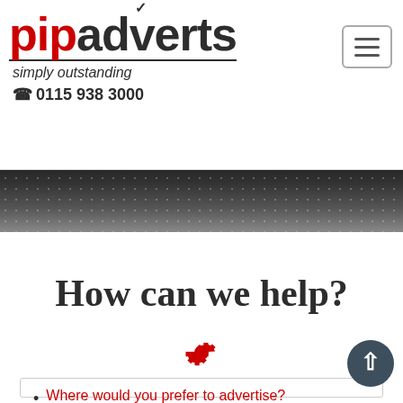pipadverts simply outstanding 0115 938 3000
[Figure (screenshot): Dark grainy banner image spanning full width]
How can we help?
[Figure (other): Red gear/cog icon]
Where would you prefer to advertise?
In what type of industry are you?